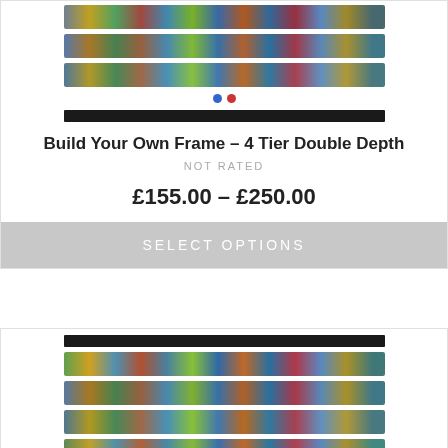[Figure (photo): Product image strips showing rows of LEGO minifigures on blue/purple background - top card showing 3 strips]
Build Your Own Frame – 4 Tier Double Depth
NOT RATED
£155.00 – £250.00
SELECT OPTIONS
[Figure (photo): Product image strips showing rows of LEGO minifigures on blue/purple background - bottom card showing 4 strips]